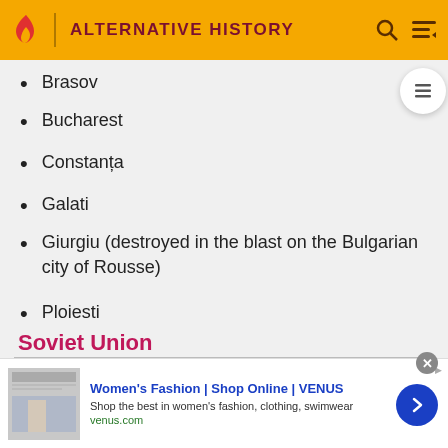ALTERNATIVE HISTORY
Brasov
Bucharest
Constanța
Galati
Giurgiu (destroyed in the blast on the Bulgarian city of Rousse)
Ploiesti
Soviet Union
[Figure (photo): Satellite/aerial map view showing landmasses and blue water, possibly depicting a coastal or river delta region.]
Women's Fashion | Shop Online | VENUS
Shop the best in women's fashion, clothing, swimwear
venus.com